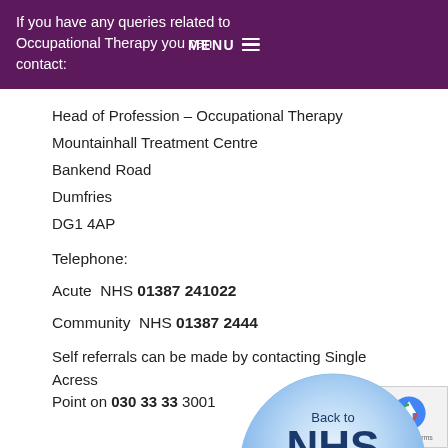If you have any queries related to Occupational Therapy you can contact:
Head of Profession – Occupational Therapy
Mountainhall Treatment Centre
Bankend Road
Dumfries
DG1 4AP
Telephone:
Acute  NHS 01387 241022
Community  NHS 01387 2444...
Self referrals can be made by contacting Single Access Point on 030 33 33 3001
[Figure (logo): NHS Dumfries & Galloway circular logo with 'Back to' text and blue circle background]